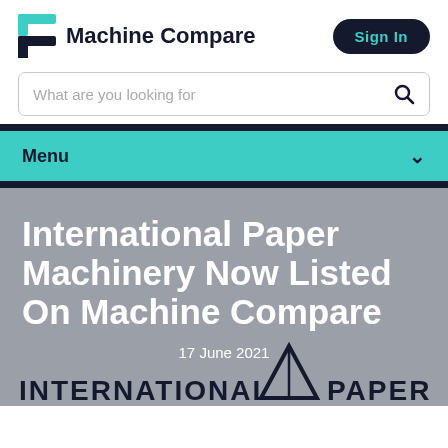[Figure (logo): Machine Compare logo with teal bracket icon and dark text]
Sign In
What are you looking for
Menu
International Paper Machinery Now Listed On Machine Compare
17 June 2021
[Figure (logo): International Paper logo text at bottom: INTERNATIONAL [A] PAPER]